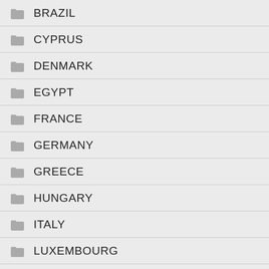BRAZIL
CYPRUS
DENMARK
EGYPT
FRANCE
GERMANY
GREECE
HUNGARY
ITALY
LUXEMBOURG